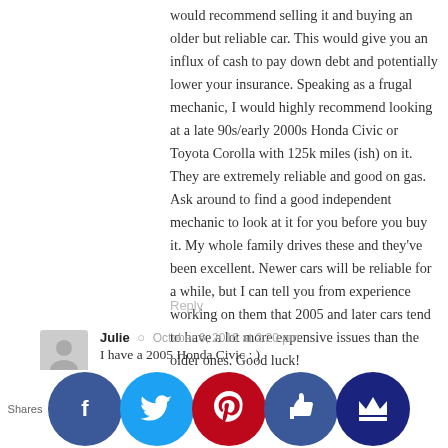would recommend selling it and buying an older but reliable car. This would give you an influx of cash to pay down debt and potentially lower your insurance. Speaking as a frugal mechanic, I would highly recommend looking at a late 90s/early 2000s Honda Civic or Toyota Corolla with 125k miles (ish) on it. They are extremely reliable and good on gas. Ask around to find a good independent mechanic to look at it for you before you buy it. My whole family drives these and they've been excellent. Newer cars will be reliable for a while, but I can tell you from experience working on them that 2005 and later cars tend to have a lot more expensive issues than the older ones. Good luck!
Reply
Julie  ◉  October 6, 2016 at 2:20 pm
I have a 2005 Honda Civic : )
Reply
Melanie  ◉  October 6, 2016 at 12:59 pm
F... Julie i... a grea... keepin... ses lo... m... ing an i... during... hool. I... e some
Shares